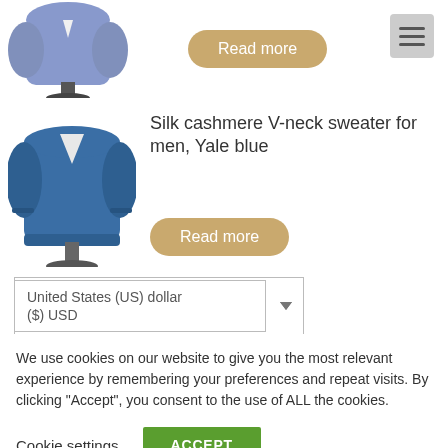[Figure (photo): Partial view of a blue/purple sweater on a mannequin, cropped at top]
Read more
[Figure (photo): Blue V-neck sweater (Yale blue) on a mannequin, full view]
Silk cashmere V-neck sweater for men, Yale blue
Read more
United States (US) dollar ($) USD
We use cookies on our website to give you the most relevant experience by remembering your preferences and repeat visits. By clicking "Accept", you consent to the use of ALL the cookies.
Cookie settings
ACCEPT